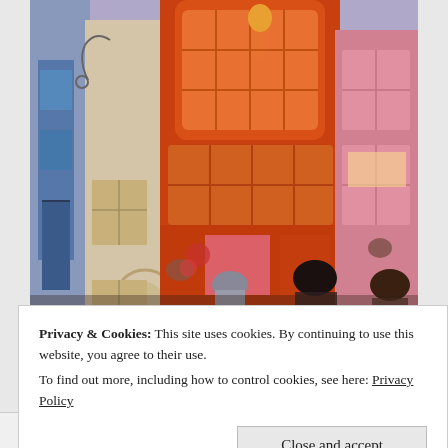[Figure (photo): Photo of Weasleys' Wizard Wheezes and Diagon Alley shops at The Wizarding World of Harry Potter (Universal Studios). Brightly colored orange and red shop fronts with large windows, a figure in orange leaning out of an upper window, decorative ironwork signs, and tourists/visitors in the foreground.]
Privacy & Cookies: This site uses cookies. By continuing to use this website, you agree to their use.
To find out more, including how to control cookies, see here: Privacy Policy
Close and accept